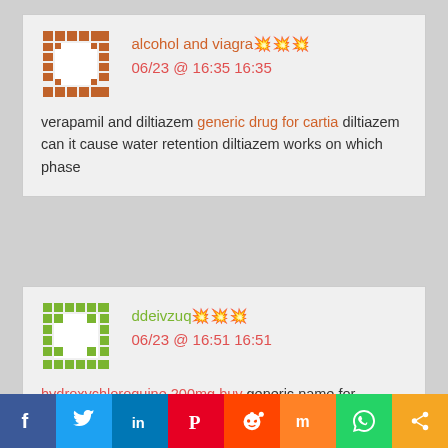alcohol and viagra 06/23 @ 16:35 16:35
verapamil and diltiazem generic drug for cartia diltiazem can it cause water retention diltiazem works on which phase
ddeivzuq 06/23 @ 16:51 16:51
hydroxychloroquine 200mg buy generic name for plaquenil
[Figure (other): Social share bar with icons: Facebook, Twitter, LinkedIn, Pinterest, Reddit, Mix, WhatsApp, Share]